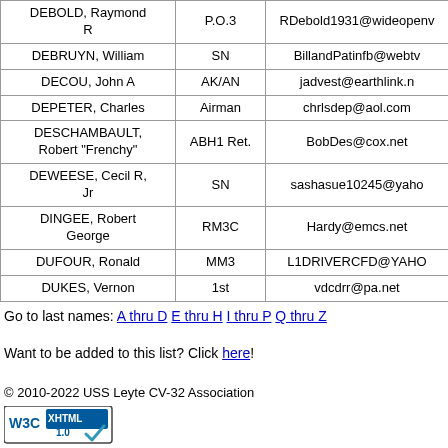| Name | Rank | Email |
| --- | --- | --- |
| DEBOLD, Raymond R | P.O.3 | RDebold1931@wideopenw... |
| DEBRUYN, William | SN | BillandPatinfb@webtv... |
| DECOU, John A | AK/AN | jadvest@earthlink.n... |
| DEPETER, Charles | Airman | chrlsdep@aol.com... |
| DESCHAMBAULT, Robert "Frenchy" | ABH1 Ret. | BobDes@cox.net... |
| DEWEESE, Cecil R, Jr | SN | sashasue10245@yaho... |
| DINGEE, Robert George | RM3C | Hardy@emcs.net... |
| DUFOUR, Ronald | MM3 | L1DRIVERCFD@YAHO... |
| DUKES, Vernon | 1st | vdcdrr@pa.net |
Go to last names: A thru D E thru H I thru P Q thru Z
Want to be added to this list? Click here!
© 2010-2022 USS Leyte CV-32 Association